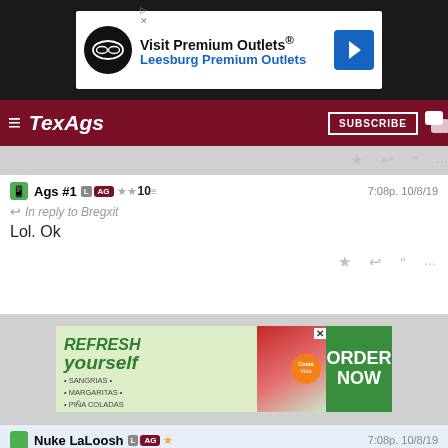[Figure (screenshot): Advertisement banner for Visit Premium Outlets / Leesburg Premium Outlets]
TexAgs — SUBSCRIBE
Ags #1  L  AG  ★★  10  7:08p. 10/8/19
In reply to Bregxit
Lol. Ok
[Figure (screenshot): Advertisement: REFRESH yourself — SANGRIAS · MARGARITAS · PIÑA COLADAS — Costa Vida — ORDER NOW]
Nuke LaLoosh  L  AG  ★  7:08p. 10/8/19
Frustrating to watch the best pitcher in MLB out there struggling on short rest
Bregxit  L  AG  ★  7:08p. 10/8/19